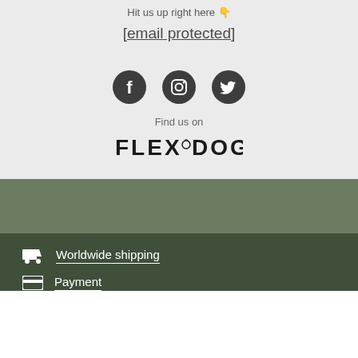Hit us up right here 👇
[email protected]
[Figure (illustration): Three social media icons: Facebook, Instagram, Twitter (dark circular icons)]
Find us on
[Figure (logo): FLEXDOG logo in stylized black text]
Worldwide shipping
Payment